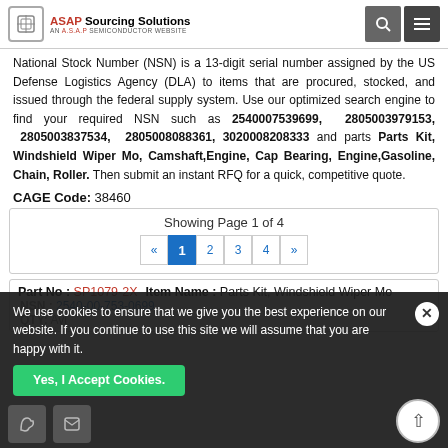ASAP Sourcing Solutions - AN A.S.A.P SEMICONDUCTOR WEBSITE
National Stock Number (NSN) is a 13-digit serial number assigned by the US Defense Logistics Agency (DLA) to items that are procured, stocked, and issued through the federal supply system. Use our optimized search engine to find your required NSN such as 2540007539699, 2805003979153, 2805003837534, 2805008088361, 3020008208333 and parts Parts Kit, Windshield Wiper Mo, Camshaft,Engine, Cap Bearing, Engine,Gasoline, Chain, Roller. Then submit an instant RFQ for a quick, competitive quote.
CAGE Code: 38460
| Showing Page 1 of 4 |
| « 1 2 3 4 » |
| Part No | Item Name |
| --- | --- |
| SP1079-2X | Parts Kit, Windshield Wiper Mo |
| NSN: | 2540-00-753-0699 |
| QTY: | Avl |
We use cookies to ensure that we give you the best experience on our website. If you continue to use this site we will assume that you are happy with it.